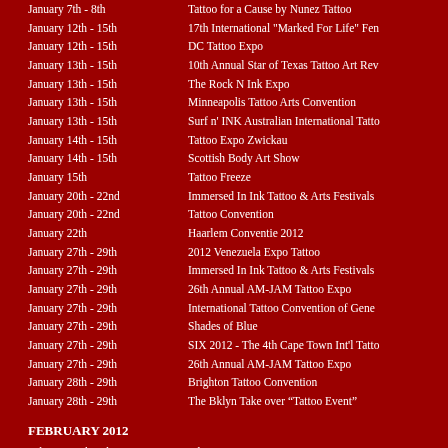January 7th - 8th | Tattoo for a Cause by Nunez Tattoo
January 12th - 15th | 17th International "Marked For Life" Fe...
January 12th - 15th | DC Tattoo Expo
January 13th - 15th | 10th Annual Star of Texas Tattoo Art Rev...
January 13th - 15th | The Rock N Ink Expo
January 13th - 15th | Minneapolis Tattoo Arts Convention
January 13th - 15th | Surf n' INK Australian International Tatto...
January 14th - 15th | Tattoo Expo Zwickau
January 14th - 15th | Scottish Body Art Show
January 15th | Tattoo Freeze
January 20th - 22nd | Immersed In Ink Tattoo & Arts Festivals
January 20th - 22nd | Tattoo Convention
January 22th | Haarlem Conventie 2012
January 27th - 29th | 2012 Venezuela Expo Tattoo
January 27th - 29th | Immersed In Ink Tattoo & Arts Festivals
January 27th - 29th | 26th Annual AM-JAM Tattoo Expo
January 27th - 29th | International Tattoo Convention of Gene...
January 27th - 29th | Shades of Blue
January 27th - 29th | SIX 2012 - The 4th Cape Town Int'l Tatto...
January 27th - 29th | 26th Annual AM-JAM Tattoo Expo
January 28th - 29th | Brighton Tattoo Convention
January 28th - 29th | The Bklyn Take over “Tattoo Event”
FEBRUARY 2012
February 3rd - 5th | InkFest Live Tattoo Expo
February 3rd - 5th | Zaragoza Tattoo Convention
February 4th - 5th | Tattoo Convention Fulda
February 4th - 5th | Lyon Tattoo Convention
February 10th - 12th | ...